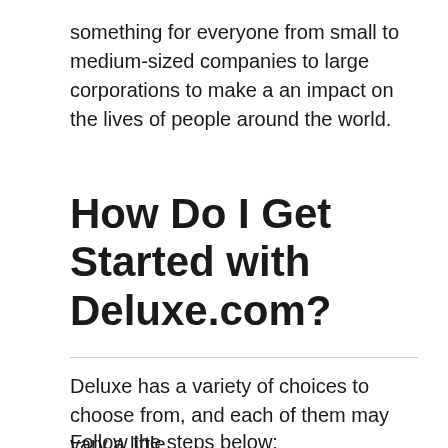something for everyone from small to medium-sized companies to large corporations to make a an impact on the lives of people around the world.
How Do I Get Started with Deluxe.com?
Deluxe has a variety of choices to choose from, and each of them may vary a little.
Follow the steps below: